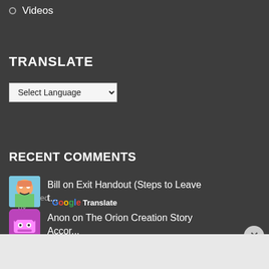Videos
TRANSLATE
[Figure (screenshot): Select Language dropdown with Google Translate branding]
RECENT COMMENTS
Bill on Exit Handout (Steps to Leave t...
Anon on The Orion Creation Story Accor...
[Figure (screenshot): Bloomingdales advertisement banner: View Today's Top Deals! SHOP NOW >]